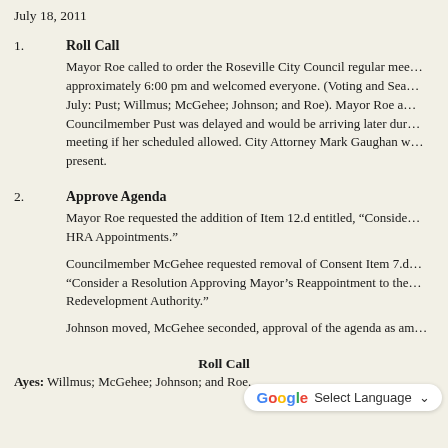July 18, 2011
1.  Roll Call
Mayor Roe called to order the Roseville City Council regular meeting approximately 6:00 pm and welcomed everyone. (Voting and Seating for July: Pust; Willmus; McGehee; Johnson; and Roe). Mayor Roe announced Councilmember Pust was delayed and would be arriving later during the meeting if her scheduled allowed. City Attorney Mark Gaughan was present.
2.  Approve Agenda
Mayor Roe requested the addition of Item 12.d entitled, "Consideration of HRA Appointments."

Councilmember McGehee requested removal of Consent Item 7.d entitled "Consider a Resolution Approving Mayor's Reappointment to the Housing Redevelopment Authority."

Johnson moved, McGehee seconded, approval of the agenda as amended.
Roll Call
Ayes: Willmus; McGehee; Johnson; and Roe.